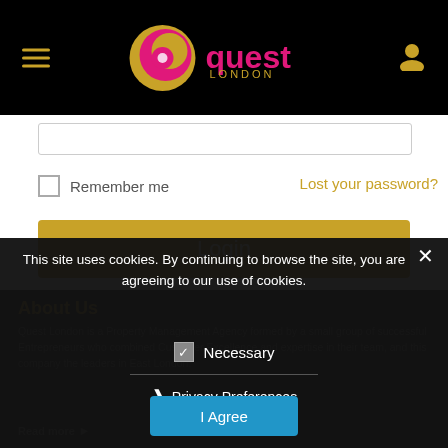[Figure (logo): Quest London logo — colourful 'q' icon with pink and gold tones, text 'quest LONDON' in magenta on black header bar]
Remember me
Lost your password?
Login
About Us
Quest London is a Property Management Agency formed by a small group of successful Entrepreneurs who combined Customer Excellence and expertise in their team, and this company the leaders in East London.
This site uses cookies. By continuing to browse the site, you are agreeing to our use of cookies.
Necessary
Privacy Preferences
I Agree